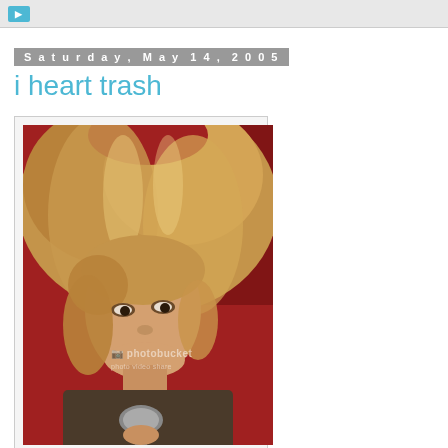Saturday, May 14, 2005
i heart trash
[Figure (photo): Portrait photo of a woman with voluminous blonde/auburn hair against a red background, holding a microphone, with a Photobucket watermark overlay]